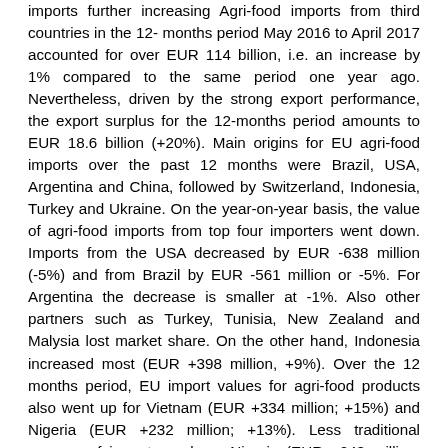imports further increasing Agri-food imports from third countries in the 12- months period May 2016 to April 2017 accounted for over EUR 114 billion, i.e. an increase by 1% compared to the same period one year ago. Nevertheless, driven by the strong export performance, the export surplus for the 12-months period amounts to EUR 18.6 billion (+20%). Main origins for EU agri-food imports over the past 12 months were Brazil, USA, Argentina and China, followed by Switzerland, Indonesia, Turkey and Ukraine. On the year-on-year basis, the value of agri-food imports from top four importers went down. Imports from the USA decreased by EUR -638 million (-5%) and from Brazil by EUR -561 million or -5%. For Argentina the decrease is smaller at -1%. Also other partners such as Turkey, Tunisia, New Zealand and Malysia lost market share. On the other hand, Indonesia increased most (EUR +398 million, +9%). Over the 12 months period, EU import values for agri-food products also went up for Vietnam (EUR +334 million; +15%) and Nigeria (EUR +232 million; +13%). Less traditional sources of imports such as Nigeria (EUR +248 million; +51%), and Costa Rica (EUR +221 million; +14%) increased significantly. Looking at imports per product category, the highest increase in values over the